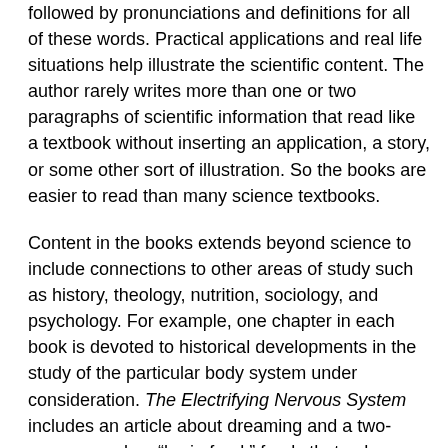followed by pronunciations and definitions for all of these words. Practical applications and real life situations help illustrate the scientific content. The author rarely writes more than one or two paragraphs of scientific information that read like a textbook without inserting an application, a story, or some other sort of illustration. So the books are easier to read than many science textbooks.
Content in the books extends beyond science to include connections to other areas of study such as history, theology, nutrition, sociology, and psychology. For example, one chapter in each book is devoted to historical developments in the study of the particular body system under consideration. The Electrifying Nervous System includes an article about dreaming and a two-page spread on "brain food," foods that enhance brain health. In The Breathtaking Respiratory System, an article on polio is followed by an article on "Franklin D. Roosevelt and the March of Dimes" that discusses his creation of the National Foundation for Infantile Paralysis (polio) to help combat polio. Even the science itself is supported directly with articles such